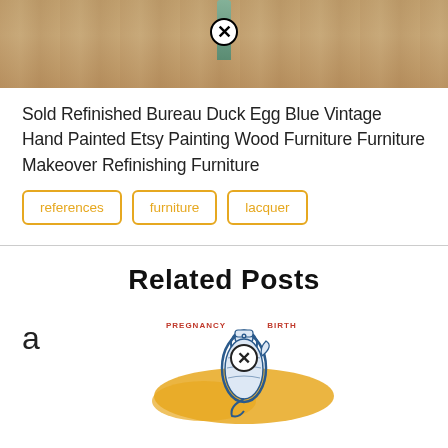[Figure (photo): Top portion of a wood surface/bureau with blue-green painted furniture legs visible, with a close button overlay]
Sold Refinished Bureau Duck Egg Blue Vintage Hand Painted Etsy Painting Wood Furniture Furniture Makeover Refinishing Furniture
references
furniture
lacquer
Related Posts
[Figure (illustration): Book or poster illustration showing a seahorse with 'PREGNANCY' and 'BIRTH' labels, in blue illustration style with orange/yellow elements, with a close button overlay and letter 'a' to the left]